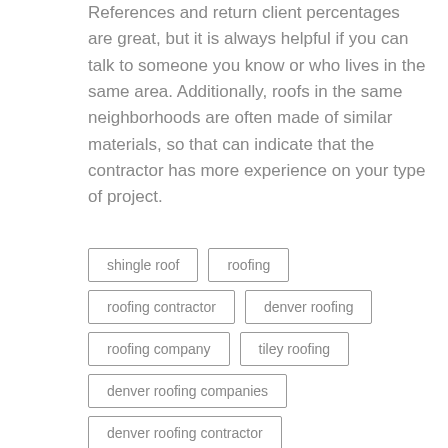References and return client percentages are great, but it is always helpful if you can talk to someone you know or who lives in the same area. Additionally, roofs in the same neighborhoods are often made of similar materials, so that can indicate that the contractor has more experience on your type of project.
shingle roof
roofing
roofing contractor
denver roofing
roofing company
tiley roofing
denver roofing companies
denver roofing contractor
roofers denver
roofing arvada